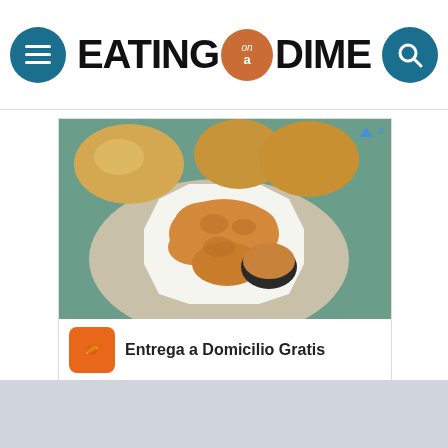[Figure (logo): Eating on a Dime website header logo with hamburger menu button on left and search button on right]
[Figure (photo): Advertisement for Pollo Campero showing fried chicken nuggets with dipping sauce on a white plate, with bread rolls in background on a teal table]
Entrega a Domicilio Gratis
Pollo Campero
Herndon 10AM–10PM